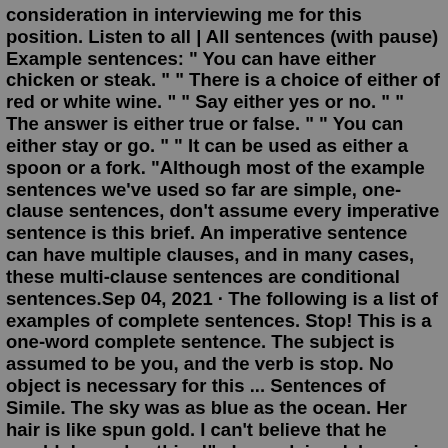consideration in interviewing me for this position. Listen to all | All sentences (with pause) Example sentences: " You can have either chicken or steak. " " There is a choice of either of red or white wine. " " Say either yes or no. " " The answer is either true or false. " " You can either stay or go. " " It can be used as either a spoon or a fork. "Although most of the example sentences we've used so far are simple, one-clause sentences, don't assume every imperative sentence is this brief. An imperative sentence can have multiple clauses, and in many cases, these multi-clause sentences are conditional sentences.Sep 04, 2021 · The following is a list of examples of complete sentences. Stop! This is a one-word complete sentence. The subject is assumed to be you, and the verb is stop. No object is necessary for this ... Sentences of Simile. The sky was as blue as the ocean. Her hair is like spun gold. I can't believe that he would do such a thing!" she exclaimed, her voice incredulous and shrill with anger. He's smart as a whip! The sky was so blue that it looked like the water. I feel as though I'm going